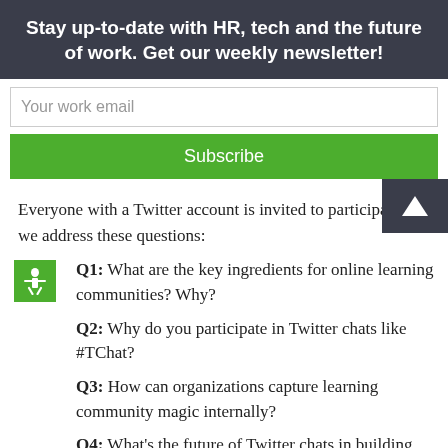Stay up-to-date with HR, tech and the future of work. Get our weekly newsletter!
Your work email
Subscribe
Everyone with a Twitter account is invited to participate, as we address these questions:
Q1: What are the key ingredients for online learning communities? Why?
Q2: Why do you participate in Twitter chats like #TChat?
Q3: How can organizations capture learning community magic internally?
Q4: What's the future of Twitter chats in building communities?
Q5: What topics would you like #TChat to explore in